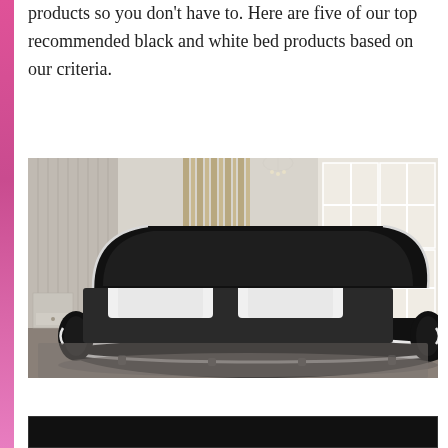products so you don't have to. Here are five of our top recommended black and white bed products based on our criteria.
[Figure (photo): A modern black and white faux leather bed frame with curved, rolling sides and a low-profile headboard, photographed in a bright bedroom with large windows and neutral walls.]